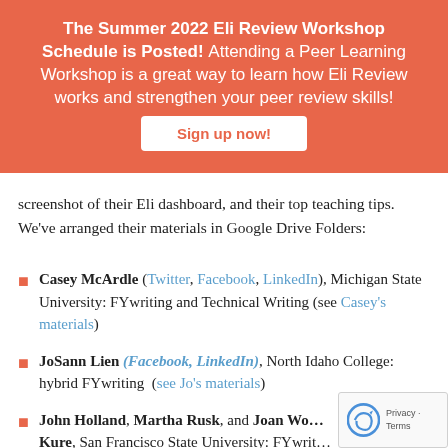[Figure (infographic): Orange banner with workshop announcement, bold title 'The Summer 2022 Eli Review Workshop Schedule is Posted!' followed by descriptive text and a 'Sign up now!' button.]
screenshot of their Eli dashboard, and their top teaching tips. We've arranged their materials in Google Drive Folders:
Casey McArdle (Twitter, Facebook, LinkedIn), Michigan State University: FYwriting and Technical Writing (see Casey's materials)
JoSann Lien (Facebook, LinkedIn), North Idaho College: hybrid FYwriting (see Jo's materials)
John Holland, Martha Rusk, and Joan Wo... Kure, San Francisco State University: FYwrit... SecondYrwriting (see this group's materials)